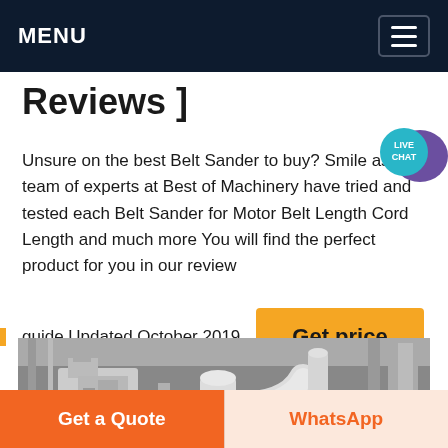MENU
Reviews ]
Unsure on the best Belt Sander to buy? Smile as the team of experts at Best of Machinery have tried and tested each Belt Sander for Motor Belt Length Cord Length and much more You will find the perfect product for you in our review
guide Updated October 2019
[Figure (other): Live Chat bubble icon in teal/purple]
[Figure (photo): Black and white industrial machinery with large pipes and equipment in a warehouse/factory setting]
Get price
Get a Quote
WhatsApp